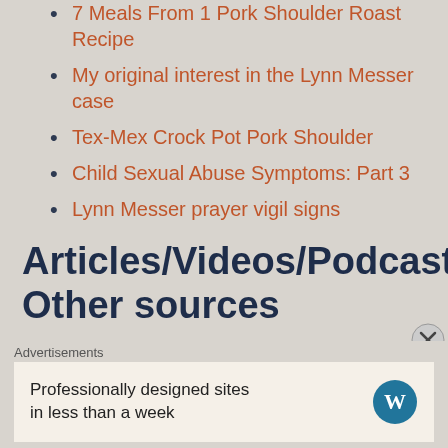7 Meals From 1 Pork Shoulder Roast Recipe
My original interest in the Lynn Messer case
Tex-Mex Crock Pot Pork Shoulder
Child Sexual Abuse Symptoms: Part 3
Lynn Messer prayer vigil signs
Articles/Videos/Podcasts: Other sources
Abuse: Marriage Counselors Won't Work Lelie Vernick 0
Counselor Patrick Doyle Dozens of free counseling videos for setting boundaries, confrontation,
Advertisements
Professionally designed sites in less than a week